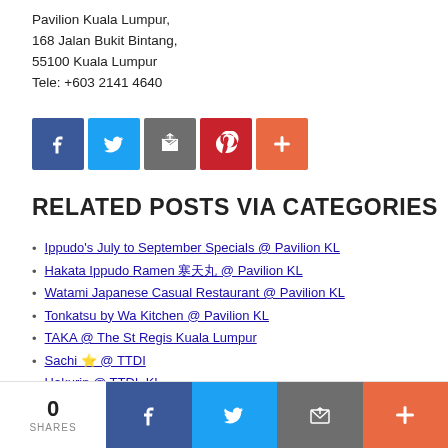Pavilion Kuala Lumpur,
168 Jalan Bukit Bintang,
55100 Kuala Lumpur
Tele: +603 2141 4640
[Figure (infographic): Row of 5 social sharing icon buttons: Facebook (blue), Twitter (light blue), Email (grey), Pinterest (red), Add/More (orange-red)]
RELATED POSTS VIA CATEGORIES
Ippudo's July to September Specials @ Pavilion KL
Hakata Ippudo Ramen ??? @ Pavilion KL
Watami Japanese Casual Restaurant @ Pavilion KL
Tonkatsu by Wa Kitchen @ Pavilion KL
TAKA @ The St Regis Kuala Lumpur
Sachi ? @ TTDI
Hakurin @ TTDI, KL
Tempura Lunch Course @ Yoshinari, Plaza Damas 3
Wagyu Yakiniku @ Wagyu Dojo, Old Klang Road
Sushi & Yakitori experience @ Uo-Sho, Plaza Damas
[Figure (infographic): Bottom share bar with share count 0 SHARES on left, then Facebook, Twitter, Email, and plus/more social icon buttons across the bottom]